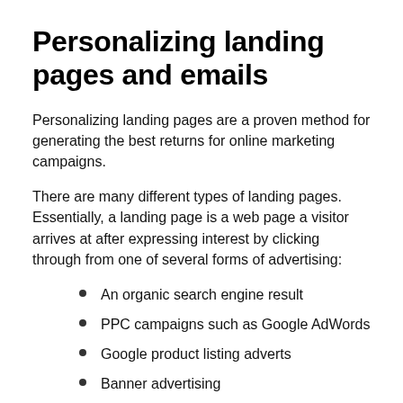Personalizing landing pages and emails
Personalizing landing pages are a proven method for generating the best returns for online marketing campaigns.
There are many different types of landing pages. Essentially, a landing page is a web page a visitor arrives at after expressing interest by clicking through from one of several forms of advertising:
An organic search engine result
PPC campaigns such as Google AdWords
Google product listing adverts
Banner advertising
Links in emails